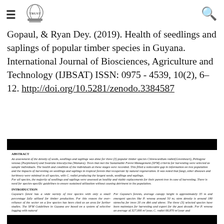[hamburger menu] [logo] [search icon]
Gopaul, & Ryan Dey. (2019). Health of seedlings and saplings of popular timber species in Guyana. International Journal of Biosciences, Agriculture and Technology (IJBSAT) ISSN: 0975 - 4539, 10(2), 6–12. http://doi.org/10.5281/zenodo.3384587
[Figure (screenshot): Partial view of an academic article showing Abstract and Introduction sections. Abstract discusses assessment of density of seeds, seedlings and saplings for three popular timber species. Introduction discusses Guyana's forest variety and SFM Guidelines.]